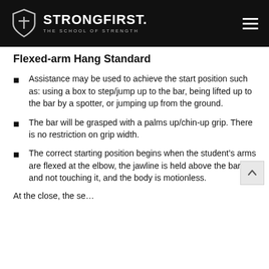StrongFirst. The School of Strength
Flexed-arm Hang Standard
Assistance may be used to achieve the start position such as: using a box to step/jump up to the bar, being lifted up to the bar by a spotter, or jumping up from the ground.
The bar will be grasped with a palms up/chin-up grip. There is no restriction on grip width.
The correct starting position begins when the student’s arms are flexed at the elbow, the jawline is held above the bar and not touching it, and the body is motionless.
At the close, the se...